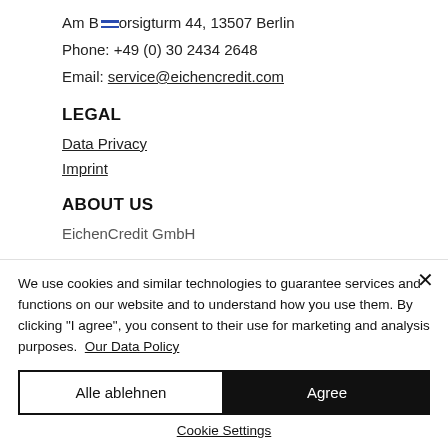Am Borsigturm 44, 13507 Berlin
Phone: +49 (0) 30 2434 2648
Email: service@eichencredit.com
LEGAL
Data Privacy
Imprint
ABOUT US
EichenCredit GmbH
We use cookies and similar technologies to guarantee services and functions on our website and to understand how you use them. By clicking "I agree", you consent to their use for marketing and analysis purposes.  Our Data Policy
Alle ablehnen
Agree
Cookie Settings